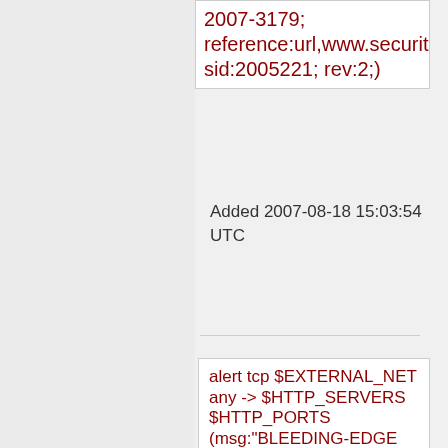2007-3179; reference:url,www.securit sid:2005221; rev:2;)
Added 2007-08-18 15:03:54 UTC
alert tcp $EXTERNAL_NET any -> $HTTP_SERVERS $HTTP_PORTS (msg:"BLEEDING-EDGE WEB Particle Blogger SQL Injection Attempt -- archives.php month UPDATE"; flow:established,to_server; uricontent:"/archives.php?